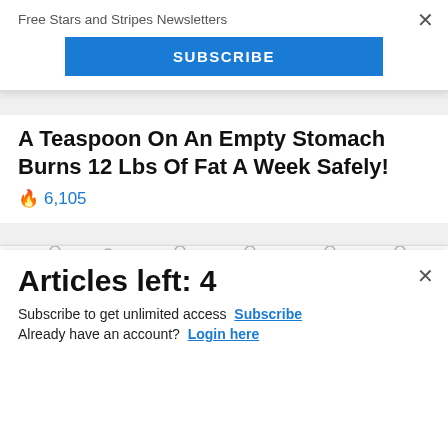Free Stars and Stripes Newsletters
SUBSCRIBE
A Teaspoon On An Empty Stomach Burns 12 Lbs Of Fat A Week Safely!
🔥 6,105
[Figure (screenshot): Commissary Click2Go advertisement banner with green logo circle and Commissary badge]
Articles left: 4
Subscribe to get unlimited access  Subscribe
Already have an account?  Login here